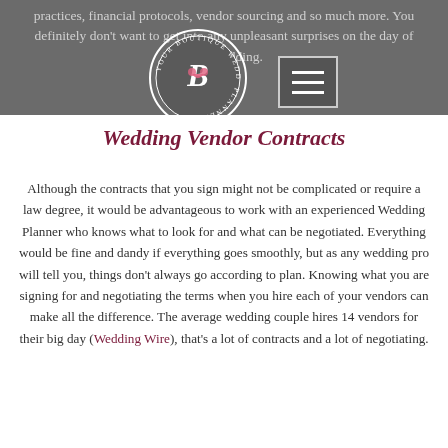practices, financial protocols, vendor sourcing and so much more. You definitely don't want to get into any unpleasant surprises on the day of your wedding.
[Figure (logo): Your Boutique Wedding Planner circular logo with stylized letter B in center]
Wedding Vendor Contracts
Although the contracts that you sign might not be complicated or require a law degree, it would be advantageous to work with an experienced Wedding Planner who knows what to look for and what can be negotiated. Everything would be fine and dandy if everything goes smoothly, but as any wedding pro will tell you, things don't always go according to plan. Knowing what you are signing for and negotiating the terms when you hire each of your vendors can make all the difference. The average wedding couple hires 14 vendors for their big day (Wedding Wire), that's a lot of contracts and a lot of negotiating.